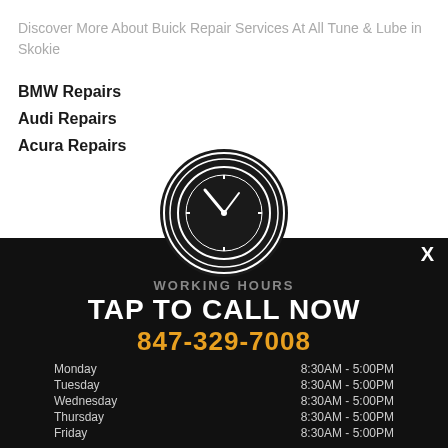Discover More About Buick Repair Services At All Tune & Lube in Skokie
BMW Repairs
Audi Repairs
Acura Repairs
[Figure (illustration): Clock icon in black circle with concentric ring borders, white clock face showing approximately 10:10]
WORKING HOURS
TAP TO CALL NOW
847-329-7008
| Day | Hours |
| --- | --- |
| Monday | 8:30AM - 5:00PM |
| Tuesday | 8:30AM - 5:00PM |
| Wednesday | 8:30AM - 5:00PM |
| Thursday | 8:30AM - 5:00PM |
| Friday | 8:30AM - 5:00PM |